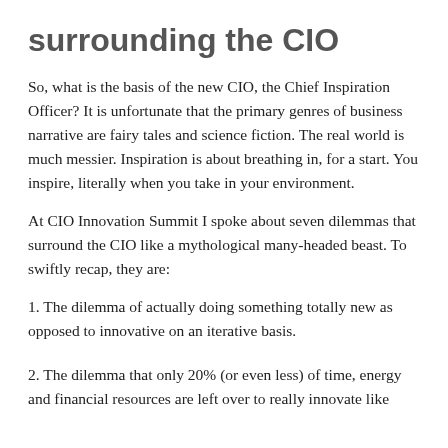surrounding the CIO
So, what is the basis of the new CIO, the Chief Inspiration Officer? It is unfortunate that the primary genres of business narrative are fairy tales and science fiction. The real world is much messier. Inspiration is about breathing in, for a start. You inspire, literally when you take in your environment.
At CIO Innovation Summit I spoke about seven dilemmas that surround the CIO like a mythological many-headed beast. To swiftly recap, they are:
1. The dilemma of actually doing something totally new as opposed to innovative on an iterative basis.
2. The dilemma that only 20% (or even less) of time, energy and financial resources are left over to really innovate like